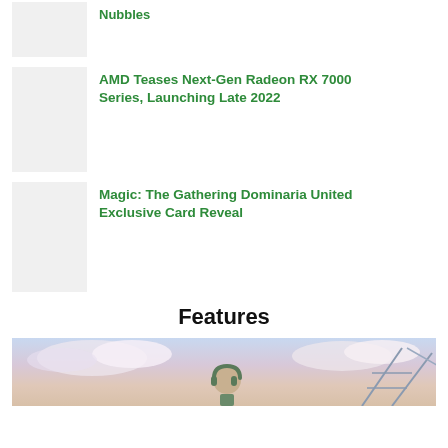Nubbles
[Figure (photo): Thumbnail image placeholder for Nubbles article]
AMD Teases Next-Gen Radeon RX 7000 Series, Launching Late 2022
[Figure (photo): Thumbnail image placeholder for AMD Radeon RX 7000 article]
Magic: The Gathering Dominaria United Exclusive Card Reveal
[Figure (photo): Thumbnail image placeholder for Magic: The Gathering article]
Features
[Figure (photo): Wide feature image showing a person with headphones outdoors with amusement park ride in background against a colorful cloudy sky]